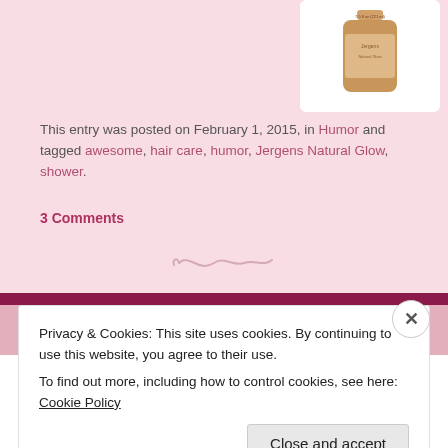[Figure (photo): Product image of Jergens Natural Glow lotion bottle on white background]
This entry was posted on February 1, 2015, in Humor and tagged awesome, hair care, humor, Jergens Natural Glow, shower.
3 Comments
[Figure (illustration): Decorative squiggle/flourish divider]
Privacy & Cookies: This site uses cookies. By continuing to use this website, you agree to their use.
To find out more, including how to control cookies, see here: Cookie Policy
Close and accept